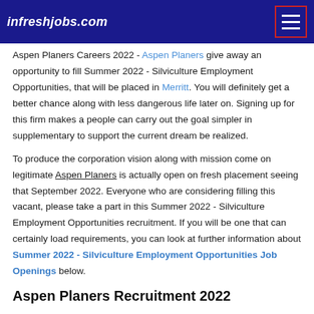infreshjobs.com
Aspen Planers Careers 2022 - Aspen Planers give away an opportunity to fill Summer 2022 - Silviculture Employment Opportunities, that will be placed in Merritt. You will definitely get a better chance along with less dangerous life later on. Signing up for this firm makes a people can carry out the goal simpler in supplementary to support the current dream be realized.
To produce the corporation vision along with mission come on legitimate Aspen Planers is actually open on fresh placement seeing that September 2022. Everyone who are considering filling this vacant, please take a part in this Summer 2022 - Silviculture Employment Opportunities recruitment. If you will be one that can certainly load requirements, you can look at further information about Summer 2022 - Silviculture Employment Opportunities Job Openings below.
Aspen Planers Recruitment 2022